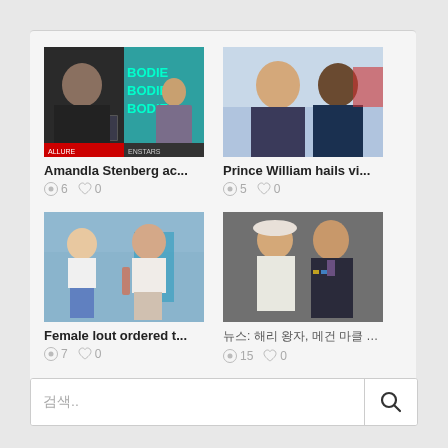[Figure (screenshot): News article card grid with 4 items. Top-left: Amandla Stenberg ac... with view count 6 and likes 0. Top-right: Prince William hails vi... with view count 5 and likes 0. Bottom-left: Female lout ordered t... with view count 7 and likes 0. Bottom-right: Korean text article with view count 15 and likes 0.]
검색..
🔍